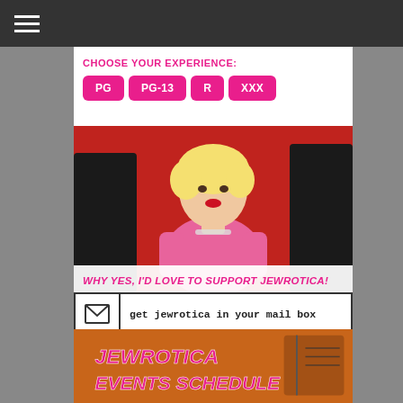☰ (hamburger menu icon)
CHOOSE YOUR EXPERIENCE:
PG
PG-13
R
XXX
[Figure (photo): Marilyn Monroe in a pink dress on a red background, with text overlay 'WHY YES, I'D LOVE TO SUPPORT JEWROTICA!']
[Figure (infographic): Envelope icon with text 'get jewrotica in your mail box' and Twitter bird icon with text 'follow @jewrotica on twitter']
[Figure (photo): Jewrotica Events Schedule banner with orange/brown background]